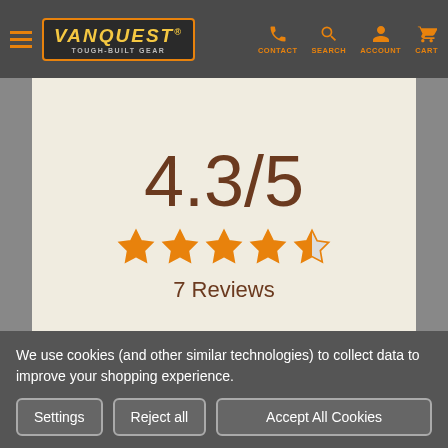[Figure (logo): Vanquest Tough-Built Gear logo with hamburger menu and navigation icons (CONTACT, SEARCH, ACCOUNT, CART)]
4.3/5
[Figure (other): 4.5 orange stars rating display (4 full stars, 1 half star)]
7 Reviews
5 ★ ——————— (3)
4 ★ ——————— (3)
We use cookies (and other similar technologies) to collect data to improve your shopping experience.
Settings
Reject all
Accept All Cookies